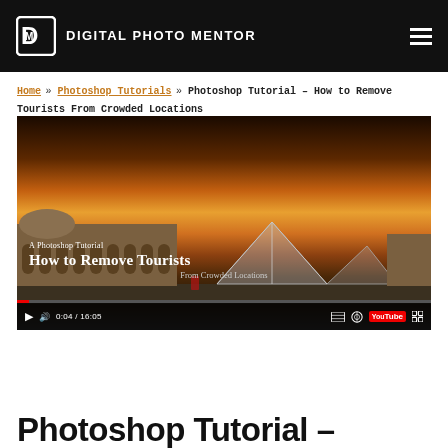DIGITAL PHOTO MENTOR
Home » Photoshop Tutorials » Photoshop Tutorial – How to Remove Tourists From Crowded Locations
[Figure (screenshot): Video thumbnail showing the Louvre museum and glass pyramid at sunset, with overlay text: 'A Photoshop Tutorial – How to Remove Tourists From Crowded Locations'. Video controls show 0:04 / 16:05.]
Photoshop Tutorial –